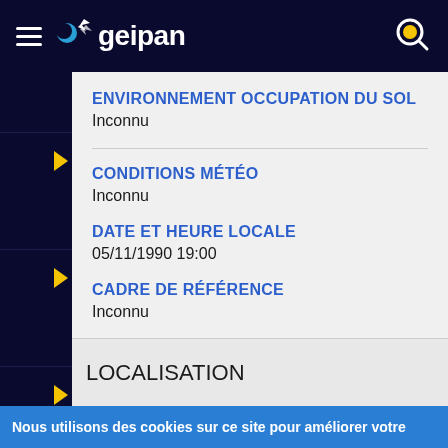geipan
ENVIRONNEMENT OCCUPATION DU SOL
Inconnu
CONDITIONS MÉTÉO
Inconnu
DATE ET HEURE LOCALE
05/11/1990 19:00
CADRE DE RÉFÉRENCE
Inconnu
LOCALISATION
Nous utilisons des cookies sur ce site pour améliorer votre